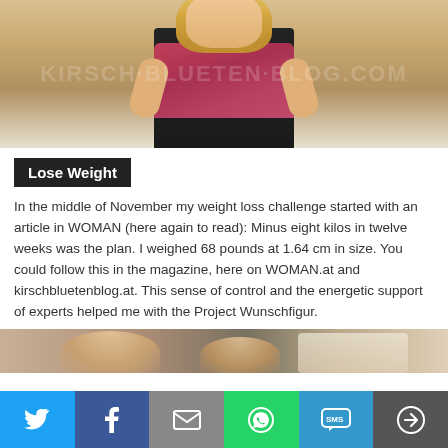[Figure (photo): Woman in pink/red tank top standing in front of white door panels, blonde hair, hands on hips. Watermark text visible in background.]
Lose Weight
In the middle of November my weight loss challenge started with an article in WOMAN (here again to read): Minus eight kilos in twelve weeks was the plan. I weighed 68 pounds at 1.64 cm in size. You could follow this in the magazine, here on WOMAN.at and kirschbluetenblog.at. This sense of control and the energetic support of experts helped me with the Project Wunschfigur.
[Figure (photo): Partial bottom photo strip showing a person and what appears to be documents/paper in background.]
Social share bar with Twitter, Facebook, Email, WhatsApp, SMS, and More buttons